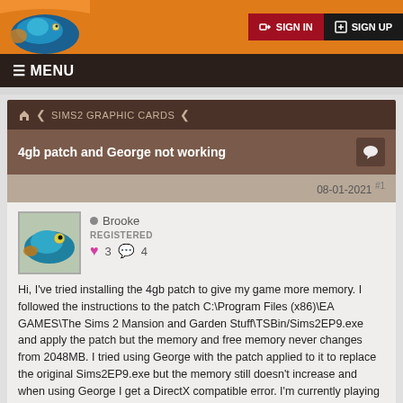SIGN IN   SIGN UP
☰ MENU
🏠 < SIMS2 GRAPHIC CARDS <
4gb patch and George not working
08-01-2021 #1
● Brooke
REGISTERED
♥ 3  💬 4
Hi, I've tried installing the 4gb patch to give my game more memory. I followed the instructions to the patch C:\Program Files (x86)\EA GAMES\The Sims 2 Mansion and Garden Stuff\TSBin/Sims2EP9.exe and apply the patch but the memory and free memory never changes from 2048MB. I tried using George with the patch applied to it to replace the original Sims2EP9.exe but the memory still doesn't increase and when using George I get a DirectX compatible error. I'm currently playing all EPs and SPs from the disc on Windows 10. Thank you for any help provided!